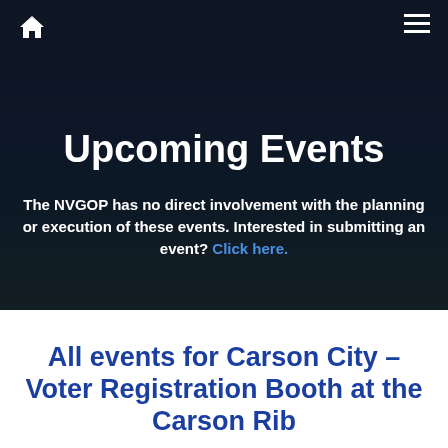🏠  ≡
Upcoming Events
The NVGOP has no direct involvement with the planning or execution of these events. Interested in submitting an event? Click here.
All events for Carson City – Voter Registration Booth at the Carson Rib